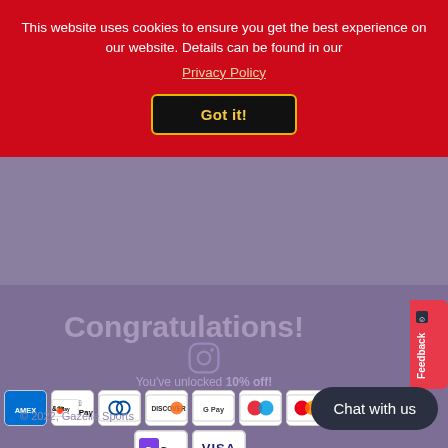This website uses cookies to ensure you get the best experience on our website. Details can be found in our
Privacy Policy
Got it!
Congratulations!
You've unlocked 10% off!
[Figure (infographic): Payment method icons: AMEX, Apple Pay, Diners Club, Discover, Google Pay, Maestro, Mastercard, PayPal, DPay, Visa]
© 2022, Gazelle Sports
Chat with us
Feedback